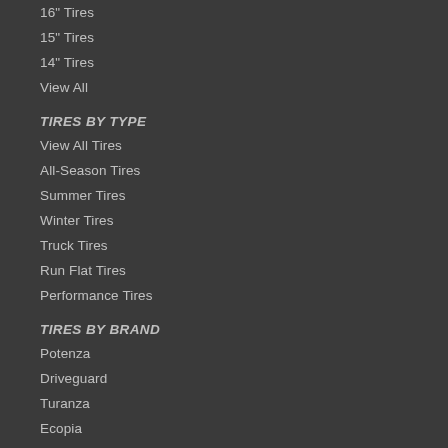16" Tires
15" Tires
14" Tires
View All
TIRES BY TYPE
View All Tires
All-Season Tires
Summer Tires
Winter Tires
Truck Tires
Run Flat Tires
Performance Tires
TIRES BY BRAND
Potenza
Driveguard
Turanza
Ecopia